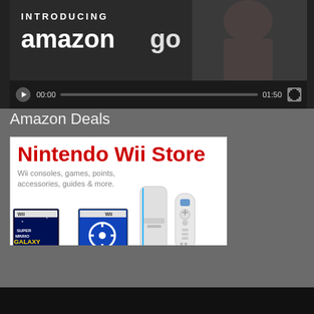[Figure (screenshot): Amazon Go video player showing 'INTRODUCING amazon go' with video controls: play button, 00:00 timestamp, progress bar, 01:50 duration, fullscreen button]
Amazon Deals
[Figure (screenshot): Amazon Nintendo Wii Store advertisement banner showing red title 'Nintendo Wii Store', subtitle 'Wii consoles, games, points, accessories, guides & more.' with images of Wii console, remote, Super Mario Galaxy and Mario Kart Wii game boxes, and link 'Shop Amazon.com/wii']